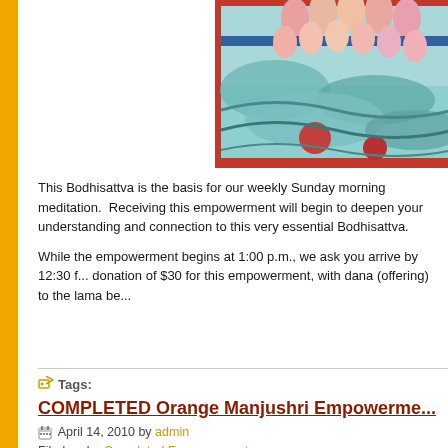[Figure (photo): Thangka painting showing Buddhist imagery with lotus flowers and blue/teal clouds with red border, partial view cropped]
This Bodhisattva is the basis for our weekly Sunday morning meditation.  Receiving this empowerment will begin to deepen your understanding and connection to this very essential Bodhisattva.
While the empowerment begins at 1:00 p.m., we ask you arrive by 12:30 f... donation of $30 for this empowerment, with dana (offering) to the lama be...
Tags:
COMPLETED Orange Manjushri Empowerme...
April 14, 2010 by admin
Filed under Completed Empowerments